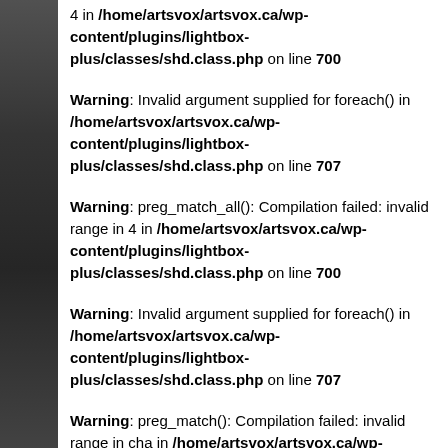4 in /home/artsvox/artsvox.ca/wp-content/plugins/lightbox-plus/classes/shd.class.php on line 700
Warning: Invalid argument supplied for foreach() in /home/artsvox/artsvox.ca/wp-content/plugins/lightbox-plus/classes/shd.class.php on line 707
Warning: preg_match_all(): Compilation failed: invalid range in 4 in /home/artsvox/artsvox.ca/wp-content/plugins/lightbox-plus/classes/shd.class.php on line 700
Warning: Invalid argument supplied for foreach() in /home/artsvox/artsvox.ca/wp-content/plugins/lightbox-plus/classes/shd.class.php on line 707
Warning: preg_match(): Compilation failed: invalid range in cha in /home/artsvox/artsvox.ca/wp-content/plugins/lightbox-plus/ on line 1384
Warning: preg_match(): Compilation failed: invalid range in cha in /home/artsvox/artsvox.ca/wp-content/plugins/lightbox-plus/ on line 1384
Warning: preg_match_all(): Compilation failed: invalid range in